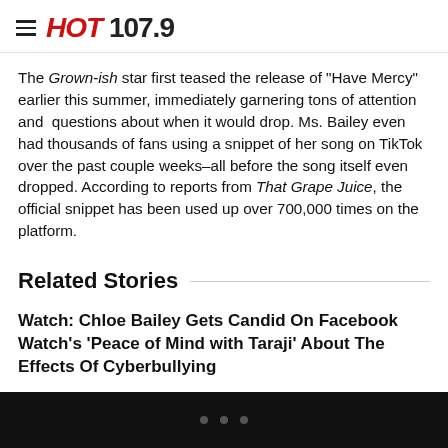HOT 107.9
The Grown-ish star first teased the release of "Have Mercy" earlier this summer, immediately garnering tons of attention and questions about when it would drop. Ms. Bailey even had thousands of fans using a snippet of her song on TikTok over the past couple weeks–all before the song itself even dropped. According to reports from That Grape Juice, the official snippet has been used up over 700,000 times on the platform.
Related Stories
Watch: Chloe Bailey Gets Candid On Facebook Watch's 'Peace of Mind with Taraji' About The Effects Of Cyberbullying